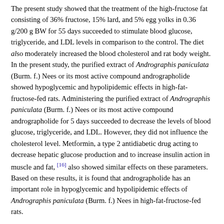The present study showed that the treatment of the high-fructose fat consisting of 36% fructose, 15% lard, and 5% egg yolks in 0.36 g/200 g BW for 55 days succeeded to stimulate blood glucose, triglyceride, and LDL levels in comparison to the control. The diet also moderately increased the blood cholesterol and rat body weight. In the present study, the purified extract of Andrographis paniculata (Burm. f.) Nees or its most active compound andrographolide showed hypoglycemic and hypolipidemic effects in high-fat-fructose-fed rats. Administering the purified extract of Andrographis paniculata (Burm. f.) Nees or its most active compound andrographolide for 5 days succeeded to decrease the levels of blood glucose, triglyceride, and LDL. However, they did not influence the cholesterol level. Metformin, a type 2 antidiabetic drug acting to decrease hepatic glucose production and to increase insulin action in muscle and fat, [16] also showed similar effects on these parameters. Based on these results, it is found that andrographolide has an important role in hypoglycemic and hypolipidemic effects of Andrographis paniculata (Burm. f.) Nees in high-fat-fructose-fed rats.
Andrographolide was reported to show hypoglycemic effects in streptozotocin-diabetics rats, [6] a model of type 1 diabetes mellitus (DM) or insulin-dependent